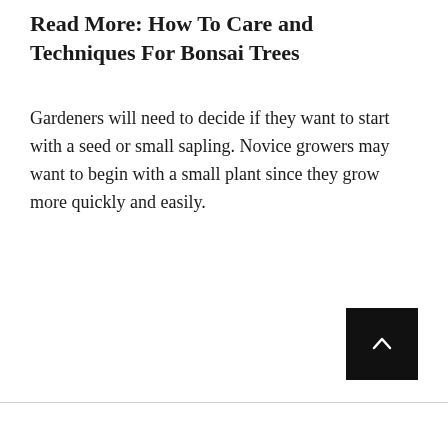Read More: How To Care and Techniques For Bonsai Trees
Gardeners will need to decide if they want to start with a seed or small sapling. Novice growers may want to begin with a small plant since they grow more quickly and easily.
[Figure (other): Black square button with a white upward-pointing chevron arrow, used as a scroll-to-top button]